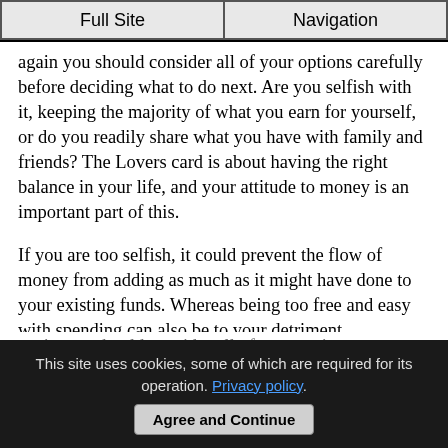Full Site | Navigation
again you should consider all of your options carefully before deciding what to do next. Are you selfish with it, keeping the majority of what you earn for yourself, or do you readily share what you have with family and friends? The Lovers card is about having the right balance in your life, and your attitude to money is an important part of this.
If you are too selfish, it could prevent the flow of money from adding as much as it might have done to your existing funds. Whereas being too free and easy with spending can also be to your detriment. Remember that money is a tool enabling you to lead the best life possible, have what you want and need, now and in the future.
This site uses cookies, some of which are required for its operation. Privacy policy.
Agree and Continue